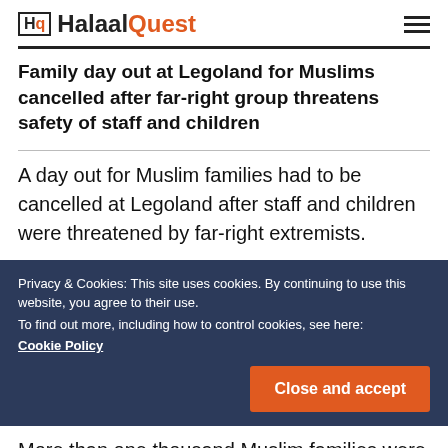HalaalQuest
Family day out at Legoland for Muslims cancelled after far-right group threatens safety of staff and children
A day out for Muslim families had to be cancelled at Legoland after staff and children were threatened by far-right extremists.
Privacy & Cookies: This site uses cookies. By continuing to use this website, you agree to their use.
To find out more, including how to control cookies, see here: Cookie Policy
More than one thousand Muslim families were